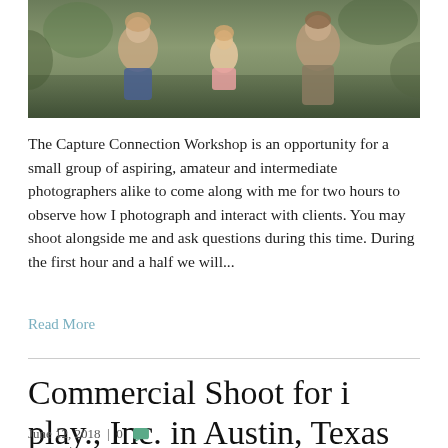[Figure (photo): Outdoor family photo showing adults and a child, with greenery in the background. People appear to be crouching or sitting together.]
The Capture Connection Workshop is an opportunity for a small group of aspiring, amateur and intermediate photographers alike to come along with me for two hours to observe how I photograph and interact with clients. You may shoot alongside me and ask questions during this time. During the first hour and a half we will...
Read More
Commercial Shoot for i play., Inc. in Austin, Texas
June 12, 2018 | 0